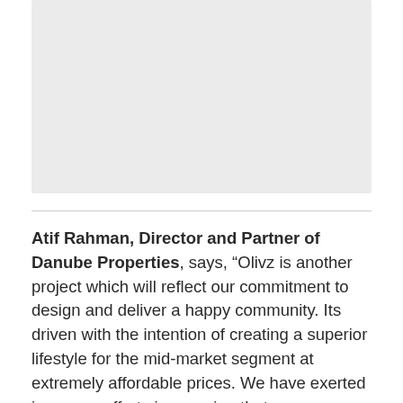[Figure (photo): Placeholder image area, light gray background, representing a photo of a property or building]
Atif Rahman, Director and Partner of Danube Properties, says, “Olivz is another project which will reflect our commitment to design and deliver a happy community. Its driven with the intention of creating a superior lifestyle for the mid-market segment at extremely affordable prices. We have exerted immense efforts in ensuring that